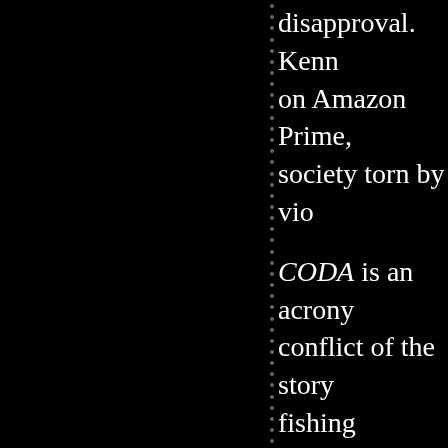disapproval. Kenn on Amazon Prime, society torn by vio
CODA is an acrony conflict of the story fishing industry tov family, which inclu (Marlee Matlin), a on the family's fish
Frank and Jackie a other, and Leo is fu something beyond